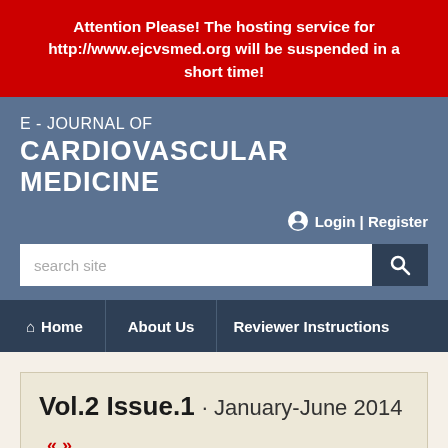Attention Please! The hosting service for http://www.ejcvsmed.org will be suspended in a short time!
E - JOURNAL OF CARDIOVASCULAR MEDICINE
Login | Register
search site
Home | About Us | Reviewer Instructions
Vol.2 Issue.1 · January-June 2014